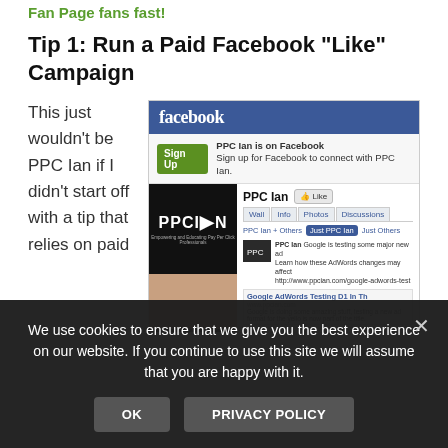Fan Page fans fast!
Tip 1: Run a Paid Facebook “Like” Campaign
This just wouldn’t be PPC Ian if I didn’t start off with a tip that relies on paid
[Figure (screenshot): Screenshot of a Facebook fan page for PPC Ian, showing the Facebook logo, a Sign Up banner, the PPC Ian profile image, Wall/Info/Photos/Discussions tabs, filter options (PPC Ian + Others, Just PPC Ian, Just Others), and post content about Google AdWords testing.]
We use cookies to ensure that we give you the best experience on our website. If you continue to use this site we will assume that you are happy with it.
OK
PRIVACY POLICY